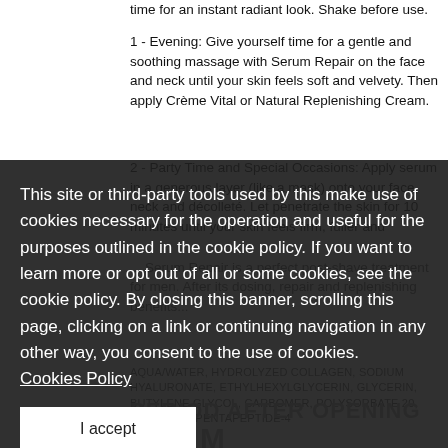time for an instant radiant look. Shake before use.
1 - Evening: Give yourself time for a gentle and soothing massage with Serum Repair on the face and neck until your skin feels soft and velvety. Then apply Crème Vital or Natural Replenishing Cream.
2 - Party Time and Special Occasions: Apply serum in a generous layer (like a mask) onto your face, neck and décolleté. Let penetrate the skin for 10 minutes until your skin feels firm, fuller and...
... Serum Repair is a perfect post-shave treatment for men. After its dosing, repair and replenishing benefits...
AQUA/WATER, HYDROLYZED COLLAGEN, SODIUM HYALURONATE, ETHYLHEXYLGLYCERIN, GLYCERIN, BUTYLENE GLYCOL, CARBOMER, POLYSORBATE 20, PALMITOYL PENTAPEPTIDE-4
PERIOD AFTER OPENING
6 M
This site or third-party tools used by this make use of cookies necessary for the operation and useful for the purposes outlined in the cookie policy. If you want to learn more or opt out of all or some cookies, see the cookie policy. By closing this banner, scrolling this page, clicking on a link or continuing navigation in any other way, you consent to the use of cookies. Cookies Policy
I accept